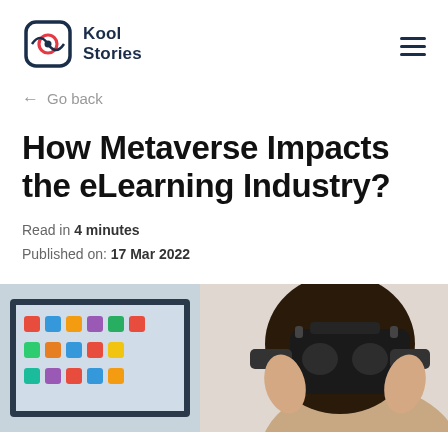Kool Stories
← Go back
How Metaverse Impacts the eLearning Industry?
Read in 4 minutes
Published on: 17 Mar 2022
[Figure (photo): Person wearing a VR headset with a computer screen visible in the background showing colorful app icons]